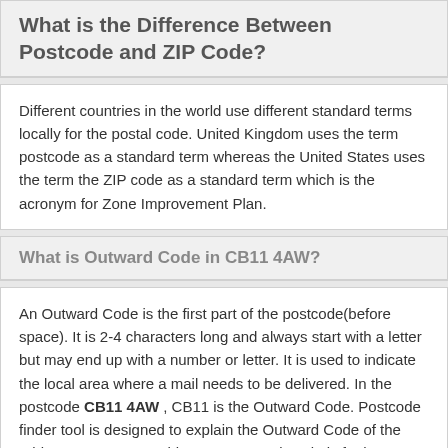What is the Difference Between Postcode and ZIP Code?
Different countries in the world use different standard terms locally for the postal code. United Kingdom uses the term postcode as a standard term whereas the United States uses the term the ZIP code as a standard term which is the acronym for Zone Improvement Plan.
What is Outward Code in CB11 4AW?
An Outward Code is the first part of the postcode(before space). It is 2-4 characters long and always start with a letter but may end up with a number or letter. It is used to indicate the local area where a mail needs to be delivered. In the postcode CB11 4AW , CB11 is the Outward Code. Postcode finder tool is designed to explain the Outward Code of the address you are searching. An Outward Code is further divided into Postcode Area and Postcode District.